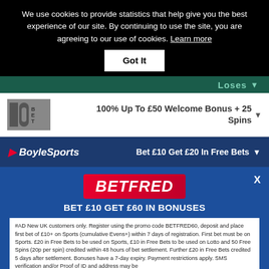We use cookies to provide statistics that help give you the best experience of our site. By continuing to use the site, you are agreeing to our use of cookies. Learn more
Got It
Loses
100% Up To £50 Welcome Bonus + 25 Spins
Bet £10 Get £20 In Free Bets
[Figure (screenshot): Betfred popup modal with logo, headline BET £10 GET £60 IN BONUSES, and terms text]
[Figure (infographic): Betfred bottom ad banner: GET £60 IN BONUSES WHEN YOU STAKE £10 with Claim Here button]